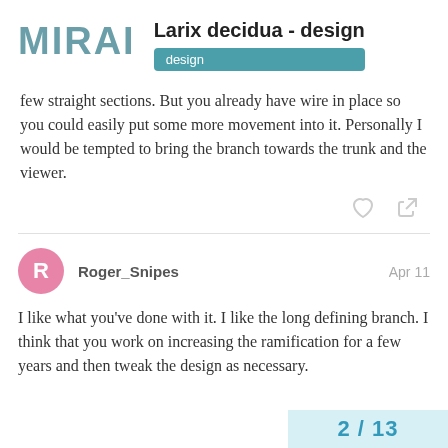MIRAI — Larix decidua - design [design]
few straight sections. But you already have wire in place so you could easily put some more movement into it. Personally I would be tempted to bring the branch towards the trunk and the viewer.
Roger_Snipes — Apr 11
I like what you've done with it. I like the long defining branch. I think that you work on increasing the ramification for a few years and then tweak the design as necessary.
2 / 13